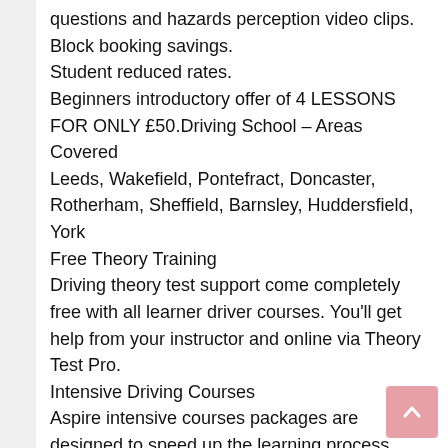questions and hazards perception video clips.
Block booking savings.
Student reduced rates.
Beginners introductory offer of 4 LESSONS FOR ONLY £50.Driving School – Areas Covered
Leeds, Wakefield, Pontefract, Doncaster, Rotherham, Sheffield, Barnsley, Huddersfield, York
Free Theory Training
Driving theory test support come completely free with all learner driver courses. You'll get help from your instructor and online via Theory Test Pro.
Intensive Driving Courses
Aspire intensive courses packages are designed to speed up the learning process.